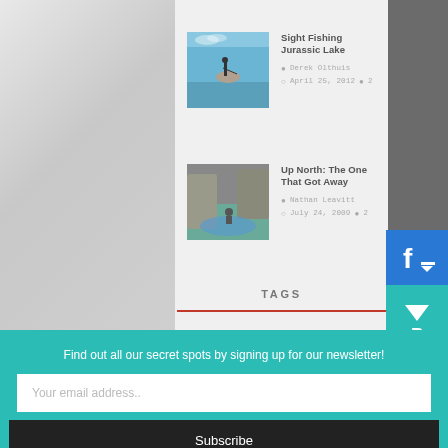[Figure (photo): Fishing at Jurassic Lake - person standing on a rock by water]
Sight Fishing Jurassic Lake
Derek Olthuis
April 25, 2012  2
[Figure (photo): Rocky cave/water scene - person by rocky pool]
Up North: The One That Got Away
Nathan Leavitt
July 24, 2009  2
TAGS
Find out all our secret spots by signing up for our newsletter!
Your email address..
Subscribe